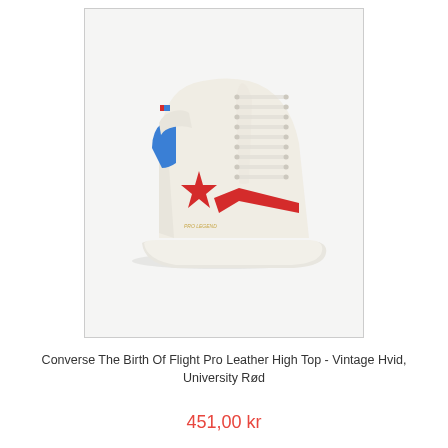[Figure (photo): White Converse high-top sneaker (Pro Leather High Top) with red star-chevron logo on side, blue accent on heel, white laces, on white/gray background]
Converse The Birth Of Flight Pro Leather High Top - Vintage Hvid, University Rød
451,00 kr